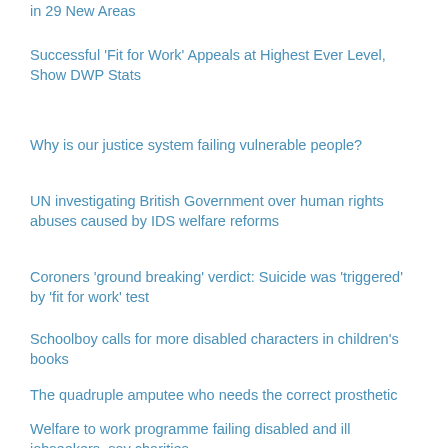in 29 New Areas
Successful 'Fit for Work' Appeals at Highest Ever Level, Show DWP Stats
Why is our justice system failing vulnerable people?
UN investigating British Government over human rights abuses caused by IDS welfare reforms
Coroners 'ground breaking' verdict: Suicide was 'triggered' by 'fit for work' test
Schoolboy calls for more disabled characters in children's books
The quadruple amputee who needs the correct prosthetic
Welfare to work programme failing disabled and ill jobseekers, say charities
Disabled fans 'delighted' as Premier League finally acts on